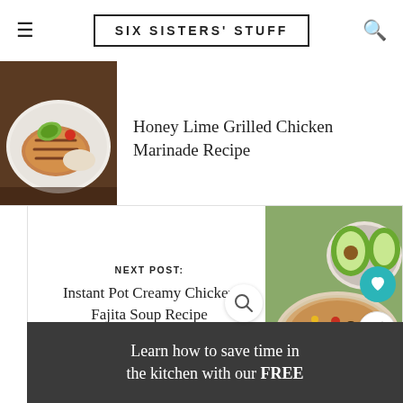SIX SISTERS' STUFF
Honey Lime Grilled Chicken Marinade Recipe
[Figure (photo): Photo of grilled chicken with rice and garnish on a white plate]
NEXT POST: Instant Pot Creamy Chicken Fajita Soup Recipe
[Figure (photo): Photo of creamy chicken fajita soup in bowls with avocado, tomatoes, and sour cream]
Learn how to save time in the kitchen with our FREE